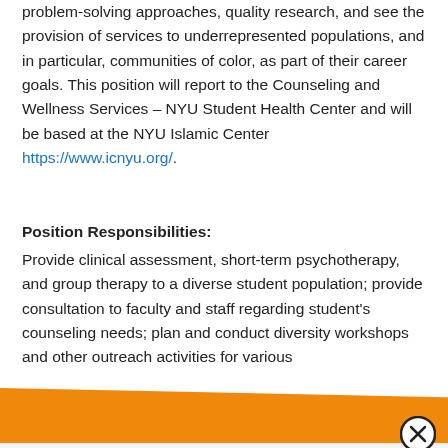problem-solving approaches, quality research, and see the provision of services to underrepresented populations, and in particular, communities of color, as part of their career goals. This position will report to the Counseling and Wellness Services – NYU Student Health Center and will be based at the NYU Islamic Center https://www.icnyu.org/.
Position Responsibilities:
Provide clinical assessment, short-term psychotherapy, and group therapy to a diverse student population; provide consultation to faculty and staff regarding student's counseling needs; plan and conduct diversity workshops and other outreach activities for various
[Figure (other): Orange diagonal banner overlaying the bottom of the document text, partially obscuring the last line.]
[Figure (other): Circular close button (X icon) in the lower right area of the page.]
First name *
Last name *